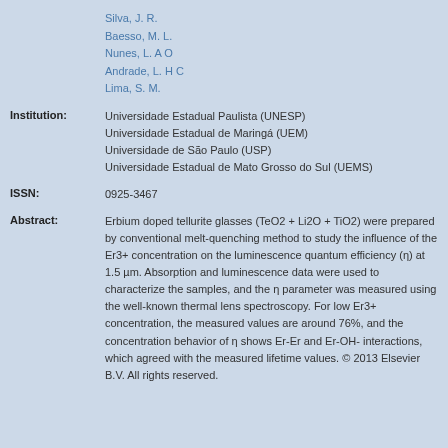Silva, J. R.
Baesso, M. L.
Nunes, L. A O
Andrade, L. H C
Lima, S. M.
Institution: Universidade Estadual Paulista (UNESP)
Universidade Estadual de Maringá (UEM)
Universidade de São Paulo (USP)
Universidade Estadual de Mato Grosso do Sul (UEMS)
ISSN: 0925-3467
Abstract: Erbium doped tellurite glasses (TeO2 + Li2O + TiO2) were prepared by conventional melt-quenching method to study the influence of the Er3+ concentration on the luminescence quantum efficiency (η) at 1.5 µm. Absorption and luminescence data were used to characterize the samples, and the η parameter was measured using the well-known thermal lens spectroscopy. For low Er3+ concentration, the measured values are around 76%, and the concentration behavior of η shows Er-Er and Er-OH- interactions, which agreed with the measured lifetime values. © 2013 Elsevier B.V. All rights reserved.